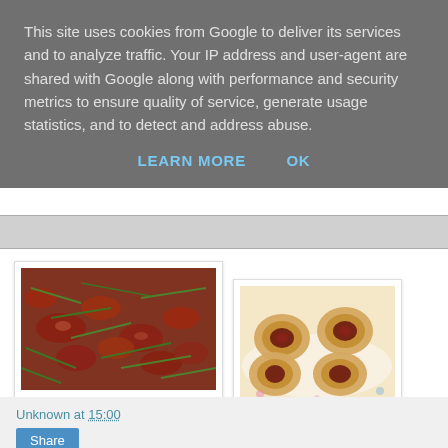This site uses cookies from Google to deliver its services and to analyze traffic. Your IP address and user-agent are shared with Google along with performance and security metrics to ensure quality of service, generate usage statistics, and to detect and address abuse.
LEARN MORE   OK
[Figure (photo): A close-up photo of sun-dried tomatoes with green herb strands (likely rosemary or chives) scattered on top, arranged on a white surface.]
[Figure (photo): A photo of rolled pastry pinwheels filled with dark filling (likely sun-dried tomato and cheese), arranged on a white plate with floral pattern.]
Unknown at 15:00
Share